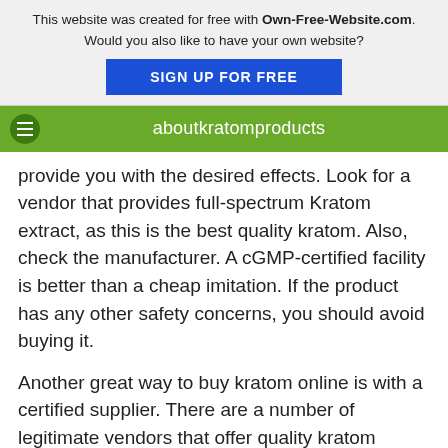This website was created for free with Own-Free-Website.com. Would you also like to have your own website? SIGN UP FOR FREE
aboutkratomproducts
provide you with the desired effects. Look for a vendor that provides full-spectrum Kratom extract, as this is the best quality kratom. Also, check the manufacturer. A cGMP-certified facility is better than a cheap imitation. If the product has any other safety concerns, you should avoid buying it.
Another great way to buy kratom online is with a certified supplier. There are a number of legitimate vendors that offer quality kratom products. Superspeciosa is one of them. The brand offers an extensive range of kratom in different forms, including powders, capsules, and capsules. You can also get custom dosages from this site. There are also many ways to get the best kratom online.
Another good option is to purchase your kratom from EZ Kratom. Many websites are dedicated to distributing the